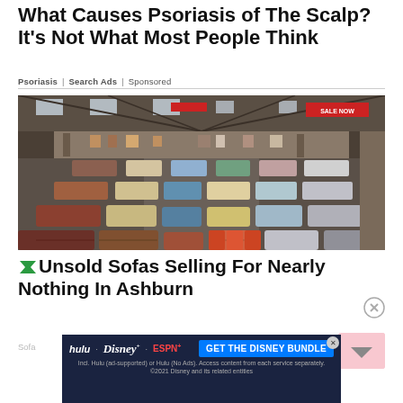What Causes Psoriasis of The Scalp? It's Not What Most People Think
Psoriasis | Search Ads | Sponsored
[Figure (photo): Interior of a large warehouse furniture showroom filled with rows of sofas and couches in various colors including beige, grey, pink, blue, orange, brown, and yellow. A 'SALE NOW' banner is visible in the upper right. The showroom has a high industrial ceiling with skylights.]
Unsold Sofas Selling For Nearly Nothing In Ashburn
[Figure (screenshot): Advertisement banner for the Disney Bundle featuring Hulu, Disney+, and ESPN+ logos on a dark navy background with a blue 'GET THE DISNEY BUNDLE' call-to-action button and fine print text.]